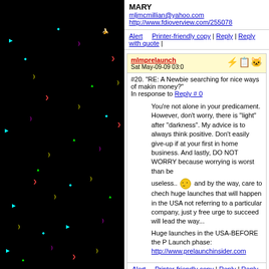[Figure (screenshot): Black background with scattered colorful small symbols (bananas, arrows, crescents in yellow, cyan, green, magenta, red) forming a decorative/game-like pattern]
MARY
mljmcmillian@yahoo.com
http://www.fdioverview.com/255078
Alert | Printer-friendly copy | Reply | Reply with quote |
mlmprelaunch
Sat May-09-09 03:0
#20. "RE: A Newbie searching for nice ways of making money?"
In response to Reply # 0
You're not alone in your predicament. However, don't worry, there is "light" after "darkness". My advice is to always think positive. Don't easily give-up if at your first in home business. And lastly, DO NOT WORRY because worrying is worst than be useless.. and by the way, care to check huge launches that will happen in the USA not referring to a particular company, just free urge to succeed will lead the way...

Huge launches in the USA-BEFORE the P Launch phase:
http://www.prelaunchinsider.com
Alert | Printer-friendly copy | Reply | Reply with quote |
kingjames11
Sat May-09-09 02:0